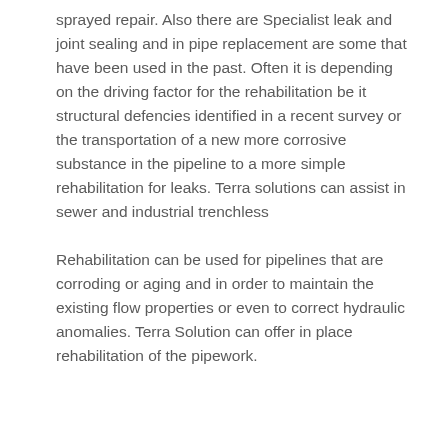sprayed repair. Also there are Specialist leak and joint sealing and in pipe replacement are some that have been used in the past. Often it is depending on the driving factor for the rehabilitation be it structural defencies identified in a recent survey or the transportation of a new more corrosive substance in the pipeline to a more simple rehabilitation for leaks. Terra solutions can assist in sewer and industrial trenchless
Rehabilitation can be used for pipelines that are corroding or aging and in order to maintain the existing flow properties or even to correct hydraulic anomalies. Terra Solution can offer in place rehabilitation of the pipework.